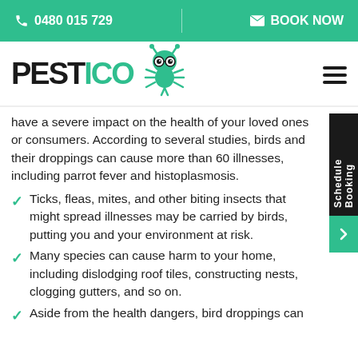📞 0480 015 729   ✉ BOOK NOW
[Figure (logo): PESTICO logo with green cartoon bug mascot wearing glasses]
have a severe impact on the health of your loved ones or consumers. According to several studies, birds and their droppings can cause more than 60 illnesses, including parrot fever and histoplasmosis.
Ticks, fleas, mites, and other biting insects that might spread illnesses may be carried by birds, putting you and your environment at risk.
Many species can cause harm to your home, including dislodging roof tiles, constructing nests, clogging gutters, and so on.
Aside from the health dangers, bird droppings can